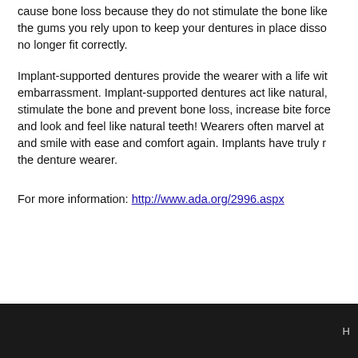cause bone loss because they do not stimulate the bone like the gums you rely upon to keep your dentures in place dissolve no longer fit correctly.
Implant-supported dentures provide the wearer with a life without embarrassment. Implant-supported dentures act like natural, stimulate the bone and prevent bone loss, increase bite force and look and feel like natural teeth! Wearers often marvel at and smile with ease and comfort again. Implants have truly the denture wearer.
For more information: http://www.ada.org/2996.aspx
H